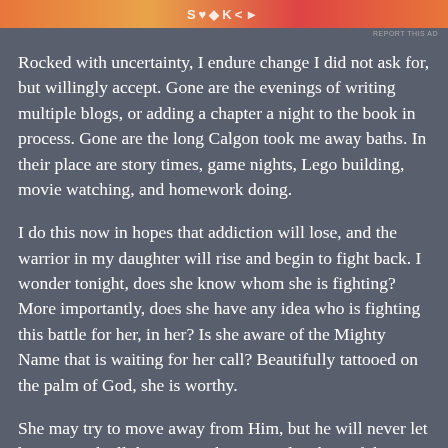[Figure (other): Orange/pink advertisement banner at top of page with partial logo/text visible]
REPORT THIS AD
Rocked with uncertainty, I endure change I did not ask for, but willingly accept. Gone are the evenings of writing multiple blogs, or adding a chapter a night to the book in process. Gone are the long Calgon took me away baths. In their place are story times, game nights, Lego building, movie watching, and homework doing.
I do this now in hopes that addiction will lose, and the warrior in my daughter will rise and begin to fight back. I wonder tonight, does she know whom she is fighting? More importantly, does she have any idea who is fighting this battle for her, in her? Is she aware of the Mighty Name that is waiting for her call? Beautifully tattooed on the palm of God, she is worthy.
She may try to move away from Him, but he will never let her go. With all the power I have as a daughter of the